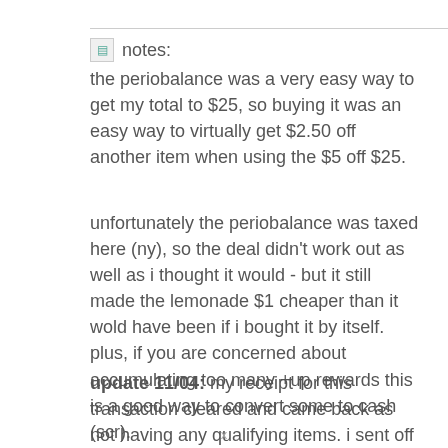notes: the periobalance was a very easy way to get my total to $25, so buying it was an easy way to virtually get $2.50 off another item when using the $5 off $25.
unfortunately the periobalance was taxed here (ny), so the deal didn't work out as well as i thought it would - but it still made the lemonade $1 cheaper than it wold have been if i bought it by itself. plus, if you are concerned about accumulating too many +up rewards this is a good way to convert some to cash (scr).
update 11/04: my receipt for this transaction cleared and came back as not having any qualifying items. i sent off any email to rite aid. they replied and said no qualifying items were